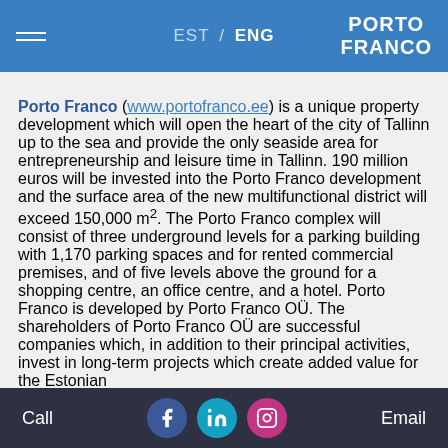EST / ENG  PORTO FRANCO
Porto Franco (www.portofranco.ee) is a unique property development which will open the heart of the city of Tallinn up to the sea and provide the only seaside area for entrepreneurship and leisure time in Tallinn. 190 million euros will be invested into the Porto Franco development and the surface area of the new multifunctional district will exceed 150,000 m². The Porto Franco complex will consist of three underground levels for a parking building with 1,170 parking spaces and for rented commercial premises, and of five levels above the ground for a shopping centre, an office centre, and a hotel. Porto Franco is developed by Porto Franco OÜ. The shareholders of Porto Franco OÜ are successful companies which, in addition to their principal activities, invest in long-term projects which create added value for the Estonian
Call  [facebook] [linkedin] [instagram]  Email